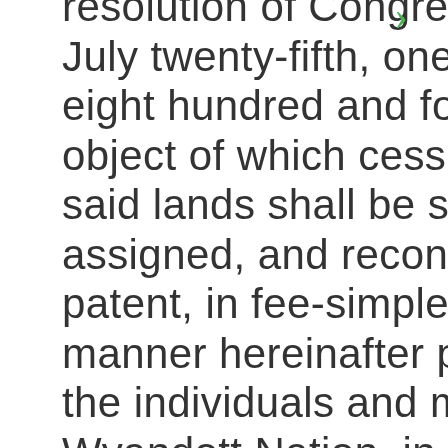resolution of Congress approved July twenty-fifth, one thousand eight hundred and forty-eight, the object of which cession is, that the said lands shall be sub-divided, assigned, and reconveyed, by patent, in fee-simple, in the manner hereinafter provided for, to the individuals and members of the Wyandott Nation, in severalty; except as follows, viz: The portion now enclosed and used as a public burying-ground, shall be permanently reserved and appropriated for that purpose; two acres, to include the church-building of the Methodist